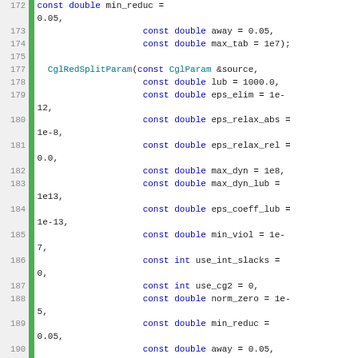Source code listing, lines 172-197, showing CglRedSplitParam constructor parameters and declarations in C++.